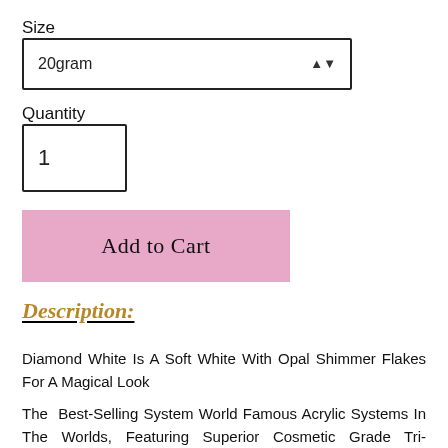Size
20gram
Quantity
1
Add to Cart
Description:
Diamond White Is A Soft White With Opal Shimmer Flakes For A Magical Look
The Best-Selling System World Famous Acrylic Systems In The Worlds, Featuring Superior Cosmetic Grade Tri-Polymers With Inner BPO Added Pigments Offering The